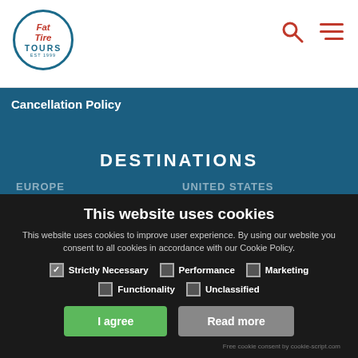Fat Tire Tours | Cancellation Policy
Cancellation Policy
DESTINATIONS
EUROPE
UNITED STATES
This website uses cookies
This website uses cookies to improve user experience. By using our website you consent to all cookies in accordance with our Cookie Policy.
Strictly Necessary (checked)
Performance
Marketing
Functionality
Unclassified
I agree
Read more
Free cookie consent by cookie-script.com